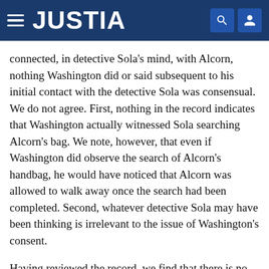JUSTIA
connected, in detective Sola's mind, with Alcorn, nothing Washington did or said subsequent to his initial contact with the detective Sola was consensual. We do not agree. First, nothing in the record indicates that Washington actually witnessed Sola searching Alcorn's bag. We note, however, that even if Washington did observe the search of Alcorn's handbag, he would have noticed that Alcorn was allowed to walk away once the search had been completed. Second, whatever detective Sola may have been thinking is irrelevant to the issue of Washington's consent.
Having reviewed the record, we find that there is no evidence that detective Sola threatened or coerced Washington in any way. Sola asked to search Washington's luggage. Washington agreed. Sola asked for permission to open the gift-wrapped package in